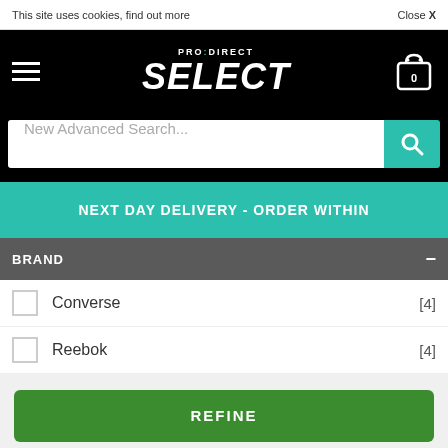This site uses cookies, find out more
Close X
[Figure (logo): PRO:DIRECT SELECT logo with hamburger menu and shopping cart icon showing 0 items]
New Advanced Search...
NEXT DAY DELIVERY - ORDER WITHIN
BRAND
Converse [4]
Reebok [4]
REFINE
CLEAR ALL